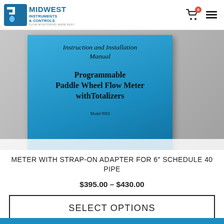[Figure (logo): Midwest Instruments & Controls logo with faucet, water drop, and globe icon. Tagline: FLOW MONITORING MADE EASY]
[Figure (photo): Photo of a blue instruction and installation manual booklet for Programmable Paddle Wheel Flow Meter with Totalizers, Model 9003, placed on a light gray surface.]
METER WITH STRAP-ON ADAPTER FOR 6" SCHEDULE 40 PIPE
$395.00 – $430.00
SELECT OPTIONS